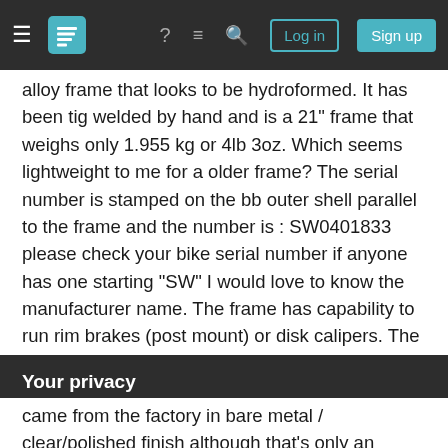Stack Exchange navigation bar with hamburger menu, logo, help, chat, search icons, Log in and Sign up buttons
alloy frame that looks to be hydroformed. It has been tig welded by hand and is a 21" frame that weighs only 1.955 kg or 4lb 3oz. Which seems lightweight to me for a older frame? The serial number is stamped on the bb outer shell parallel to the frame and the number is : SW0401833 please check your bike serial number if anyone has one starting "SW" I would love to know the manufacturer name. The frame has capability to run rim brakes (post mount) or disk calipers. The head tube is semi integrated 50mm outside diameter 44mm inside
Your privacy
By clicking "Accept all cookies", you agree Stack Exchange can store cookies on your device and disclose information in accordance with our Cookie Policy.
came from the factory in bare metal (clear/polished finish although that's only an assumption I made